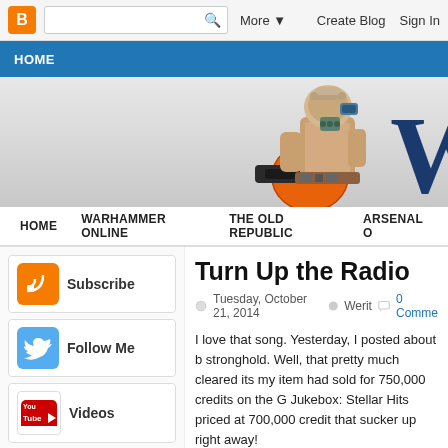[Figure (screenshot): Blogger navigation bar with orange B icon, search box, More dropdown, Create Blog and Sign In links]
HOME
[Figure (illustration): Blog banner showing an armored video-game character holding a large weapon cannon, with large blue 'W' letter partially visible on the right]
HOME   WARHAMMER ONLINE   THE OLD REPUBLIC   ARSENAL O
[Figure (logo): Orange RSS feed icon]
Subscribe
[Figure (logo): Twitter bird icon in blue]
Follow Me
[Figure (logo): YouTube logo icon]
Videos
Turn Up the Radio
Tuesday, October 21, 2014   Werit   0 Comme
I love that song.  Yesterday, I posted about b stronghold.  Well, that pretty much cleared its my item had sold for 750,000 credits on the G Jukebox: Stellar Hits priced at 700,000 credit that sucker up right away!